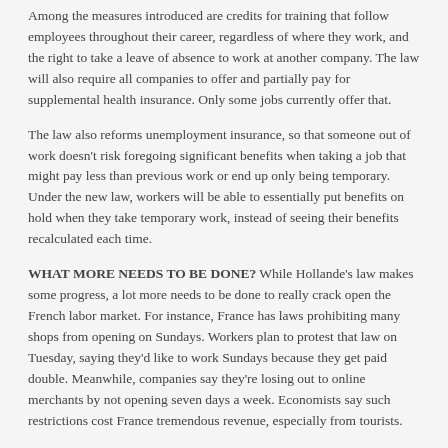Among the measures introduced are credits for training that follow employees throughout their career, regardless of where they work, and the right to take a leave of absence to work at another company. The law will also require all companies to offer and partially pay for supplemental health insurance. Only some jobs currently offer that.
The law also reforms unemployment insurance, so that someone out of work doesn't risk foregoing significant benefits when taking a job that might pay less than previous work or end up only being temporary. Under the new law, workers will be able to essentially put benefits on hold when they take temporary work, instead of seeing their benefits recalculated each time.
WHAT MORE NEEDS TO BE DONE? While Hollande's law makes some progress, a lot more needs to be done to really crack open the French labor market. For instance, France has laws prohibiting many shops from opening on Sundays. Workers plan to protest that law on Tuesday, saying they'd like to work Sundays because they get paid double. Meanwhile, companies say they're losing out to online merchants by not opening seven days a week. Economists say such restrictions cost France tremendous revenue, especially from tourists.
There's more. French labor contracts are still too complicated and too stringent, many economists say. Access to many jobs, like driving a taxi, is still restricted by special licenses and Byzantine rules. The paperwork necessary to start a business is onerous.